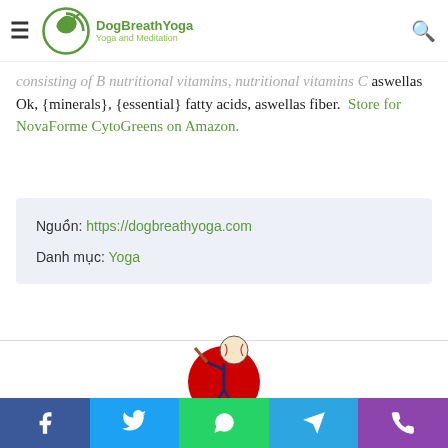DogBreathYoga — Yoga and Meditation
consisting of B nutritional vitamins, nutritional vitamins C aswellas Ok, {minerals}, {essential} fatty acids, aswellas fiber. Store for NovaForme CytoGreens on Amazon.
Nguồn: https://dogbreathyoga.com
Danh mục: Yoga
[Figure (logo): Baseball batter mascot logo with red circular background]
Facebook | Twitter | WhatsApp | Telegram | Phone